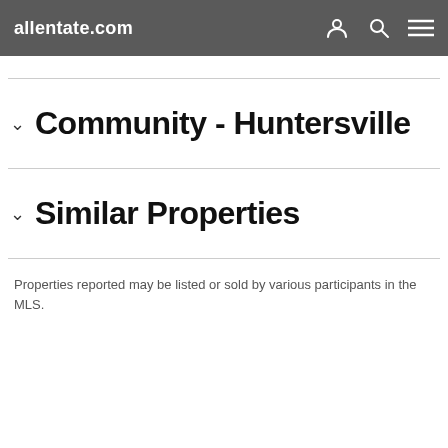allentate.com
Community - Huntersville
Similar Properties
Properties reported may be listed or sold by various participants in the MLS.